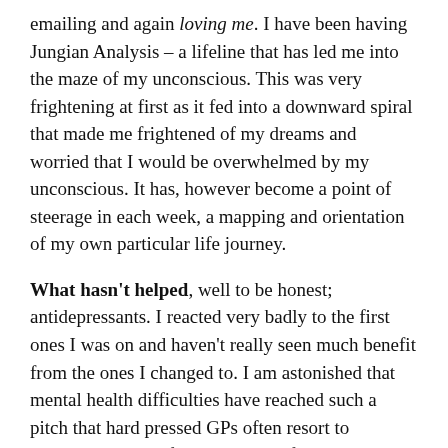emailing and again loving me. I have been having Jungian Analysis – a lifeline that has led me into the maze of my unconscious. This was very frightening at first as it fed into a downward spiral that made me frightened of my dreams and worried that I would be overwhelmed by my unconscious. It has, however become a point of steerage in each week, a mapping and orientation of my own particular life journey.
What hasn't helped, well to be honest; antidepressants. I reacted very badly to the first ones I was on and haven't really seen much benefit from the ones I changed to. I am astonished that mental health difficulties have reached such a pitch that hard pressed GPs often resort to medication as the first treatment of choice. I was very quickly on a range of tablets:- Selective Serotonin Reuptake Inhibitors, sleeping tablets